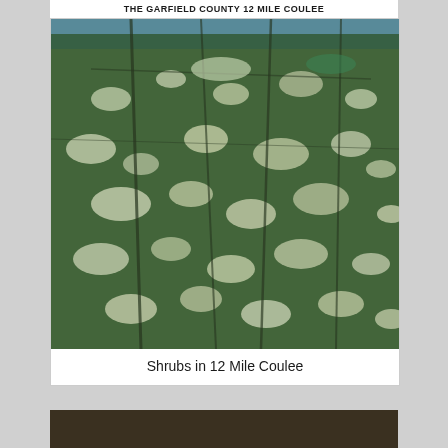THE GARFIELD COUNTY 12 MILE COULEE
[Figure (photo): Close-up photograph of dense shrubs with silvery-green leaves against a blue sky, taken in 12 Mile Coulee.]
Shrubs in 12 Mile Coulee